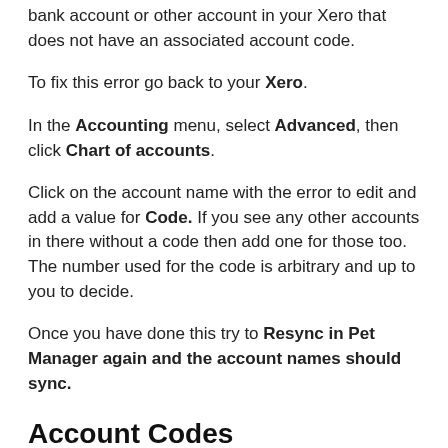bank account or other account in your Xero that does not have an associated account code.
To fix this error go back to your Xero.
In the Accounting menu, select Advanced, then click Chart of accounts.
Click on the account name with the error to edit and add a value for Code. If you see any other accounts in there without a code then add one for those too. The number used for the code is arbitrary and up to you to decide.
Once you have done this try to Resync in Pet Manager again and the account names should sync.
Account Codes
On the first tab are the codes for all the sales items and overpayments.